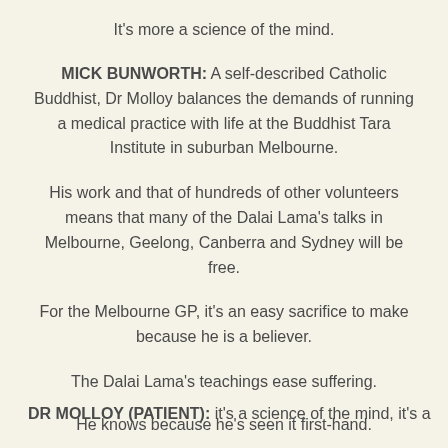It's more a science of the mind.
MICK BUNWORTH: A self-described Catholic Buddhist, Dr Molloy balances the demands of running a medical practice with life at the Buddhist Tara Institute in suburban Melbourne.
His work and that of hundreds of other volunteers means that many of the Dalai Lama's talks in Melbourne, Geelong, Canberra and Sydney will be free.
For the Melbourne GP, it's an easy sacrifice to make because he is a believer.
The Dalai Lama's teachings ease suffering.
He knows because he's seen it first-hand.
DR MOLLOY (PATIENT): the rest is cut off